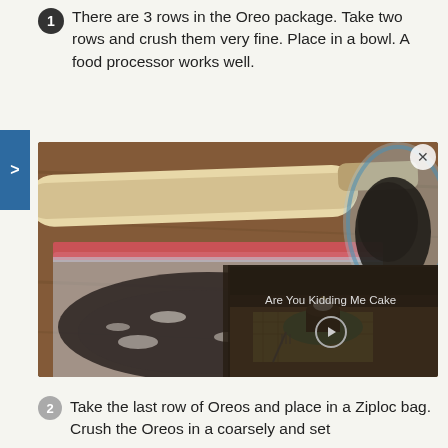There are 3 rows in the Oreo package. Take two rows and crush them very fine. Place in a bowl. A food processor works well.
[Figure (photo): Photo of crushed Oreos in a plastic Ziploc bag with a rolling pin on a wooden cutting board. A glass bowl with Oreo crumbs is visible in the upper right. A video overlay in the lower right shows a cake slice on a plate with text 'Are You Kidding Me Cake' and a play button.]
Take the last row of Oreos and place in a Ziploc bag. Crush the Oreos in a coarsely and set